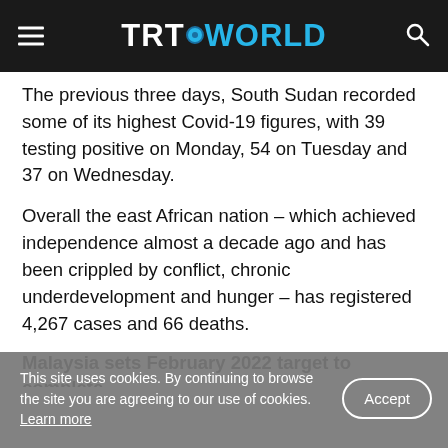TRT WORLD
The previous three days, South Sudan recorded some of its highest Covid-19 figures, with 39 testing positive on Monday, 54 on Tuesday and 37 on Wednesday.
Overall the east African nation – which achieved independence almost a decade ago and has been crippled by conflict, chronic underdevelopment and hunger – has registered 4,267 cases and 66 deaths.
Malaysia sets February 2022 target to complete
This site uses cookies. By continuing to browse the site you are agreeing to our use of cookies. Learn more